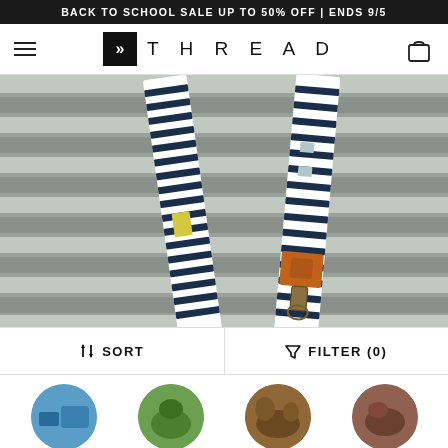BACK TO SCHOOL SALE UP TO 50% OFF | ENDS 9/5
[Figure (logo): Thread brand logo with double-arrow icon and spaced lettering]
[Figure (photo): Close-up photo of two striped navy and white lanyards, one with an orange leather connector and bronze clasp hardware, hanging against a gray slatted background]
↕ SORT
⧉ FILTER (0)
[Figure (photo): Four circular thumbnail product images in a bottom row]